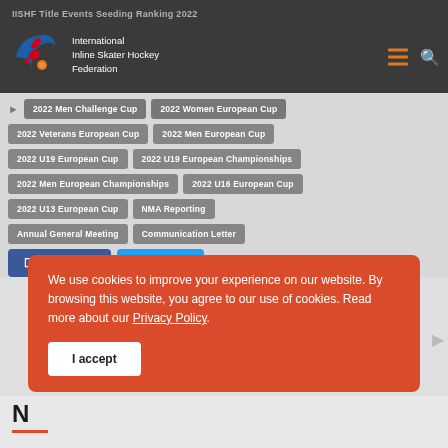IISHF Title Events Seeding Ranking 2022
[Figure (logo): IISHF logo - International Inline Skater Hockey Federation red and blue logo with hockey player graphic]
International Inline Skater Hockey Federation
2022 Men Challenge Cup
2022 Women European Cup
2022 Veterans European Cup
2022 Men European Cup
2022 U19 European Cup
2022 U19 European Championships
2022 Men European Championships
2022 U16 European Cup
2022 U13 European Cup
NMA Reporting
Annual General Meeting
Communication Letter
Facebook
Twitter
We use cookies to improve your experience on our website. By browsing this website, you agree to our use of cookies. Read more about our Privacy Policy.
I accept
N